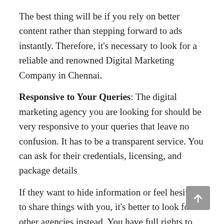The best thing will be if you rely on better content rather than stepping forward to ads instantly. Therefore, it's necessary to look for a reliable and renowned Digital Marketing Company in Chennai.
Responsive to Your Queries: The digital marketing agency you are looking for should be very responsive to your queries that leave no confusion. It has to be a transparent service. You can ask for their credentials, licensing, and package details
If they want to hide information or feel hesitant to share things with you, it's better to look for other agencies instead. You have full rights to know about everything you are going to invest in.
Expertise and Professionalism: A digital marketing agency should have expertise in long-haul campaigns, SEO, advertising, and everything regarding digital marketing. It's a challenge to compete with other businesses in the market, which requires knowledge and skills.
Make sure you get the professionalism you are looking for in